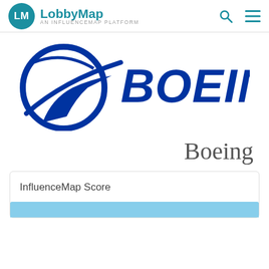LM LobbyMap AN INFLUENCEMAP PLATFORM
[Figure (logo): Boeing company logo — blue swoosh/orbit graphic and bold blue BOEING wordmark]
Boeing
InfluenceMap Score